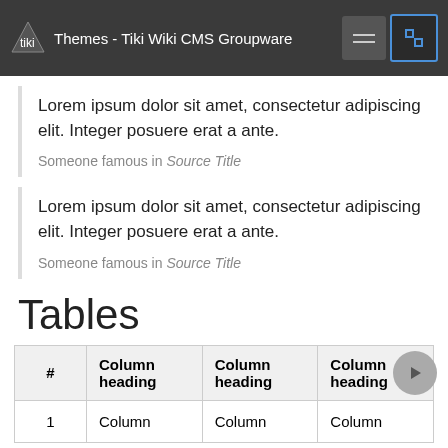Themes - Tiki Wiki CMS Groupware
Lorem ipsum dolor sit amet, consectetur adipiscing elit. Integer posuere erat a ante.

Someone famous in Source Title
Lorem ipsum dolor sit amet, consectetur adipiscing elit. Integer posuere erat a ante.

Someone famous in Source Title
Tables
| # | Column heading | Column heading | Column heading |
| --- | --- | --- | --- |
| 1 | Column | Column | Column |